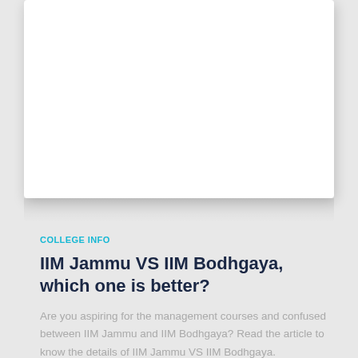[Figure (photo): White card/image area with shadow, partially visible at top of page]
COLLEGE INFO
IIM Jammu VS IIM Bodhgaya, which one is better?
Are you aspiring for the management courses and confused between IIM Jammu and IIM Bodhgaya? Read the article to know the details of IIM Jammu VS IIM Bodhgaya.